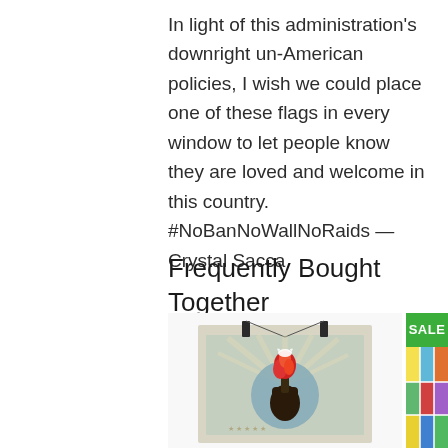In light of this administration's downright un-American policies, I wish we could place one of these flags in every window to let people know they are loved and welcome in this country. #NoBanNoWallNoRaids — Crystal Sacca
Frequently Bought Together
[Figure (photo): Poster print hanging from clips showing a raised dark fist holding a torch with red flame, a white dove above it, on a light sage/beige background with radiating light rays and a blue circle, against a white wall.]
[Figure (photo): Partially visible second product image with a green SALE badge in the upper left corner, showing colorful stained-glass or mosaic style artwork.]